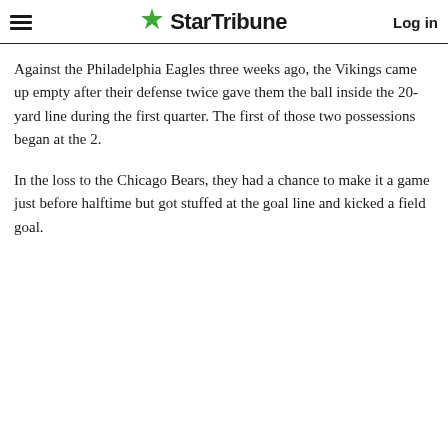StarTribune | Log in
Against the Philadelphia Eagles three weeks ago, the Vikings came up empty after their defense twice gave them the ball inside the 20-yard line during the first quarter. The first of those two possessions began at the 2.
In the loss to the Chicago Bears, they had a chance to make it a game just before halftime but got stuffed at the goal line and kicked a field goal.